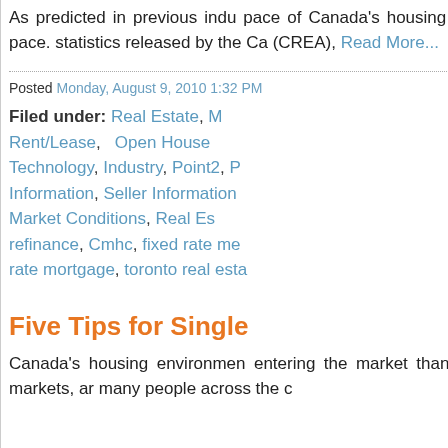As predicted in previous indu... pace of Canada's housing ma... at a more moderate pace. statistics released by the Ca... (CREA), Read More...
Posted Monday, August 9, 2010 1:32 PM
Filed under: Real Estate, M... Rent/Lease, Open House... Technology, Industry, Point2, P... Information, Seller Information... Market Conditions, Real Es... refinance, Cmhc, fixed rate me... rate mortgage, toronto real esta...
Five Tips for Single
Canada's housing environmen... entering the market than eve... improving in many markets, ar... many people across the c...